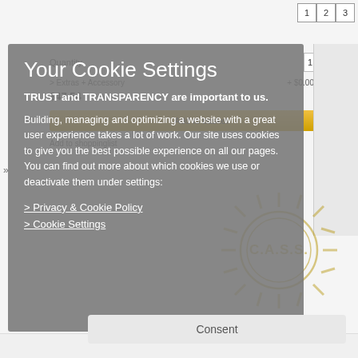[Figure (screenshot): Background e-commerce page showing quantity selector, price $47.54 VAT incl., Add to basket button, and pagination 1 2 3]
Your Cookie Settings
TRUST and TRANSPARENCY are important to us.
Building, managing and optimizing a website with a great user experience takes a lot of work. Our site uses cookies to give you the best possible experience on all our pages. You can find out more about which cookies we use or deactivate them under settings:
> Privacy & Cookie Policy
> Cookie Settings
[Figure (logo): C.A.S.S. circular sun logo watermark in gold/tan color]
Consent